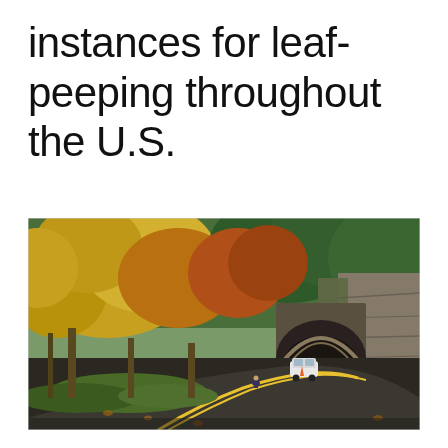instances for leaf-peeping throughout the U.S.
[Figure (photo): A winding two-lane road with yellow center lines curves toward a stone tunnel arch set into a rocky cliff. Autumn foliage in yellow, orange, and green lines the left side of the road, while the right side is a mossy rock face. A white car emerges from the tunnel and a person stands near the roadside. Fallen leaves are visible on the ground.]